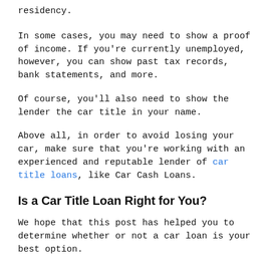residency.
In some cases, you may need to show a proof of income. If you're currently unemployed, however, you can show past tax records, bank statements, and more.
Of course, you'll also need to show the lender the car title in your name.
Above all, in order to avoid losing your car, make sure that you're working with an experienced and reputable lender of car title loans, like Car Cash Loans.
Is a Car Title Loan Right for You?
We hope that this post has helped you to determine whether or not a car loan is your best option.
We also hope that you now feel more comfortable with the application process as a whole.